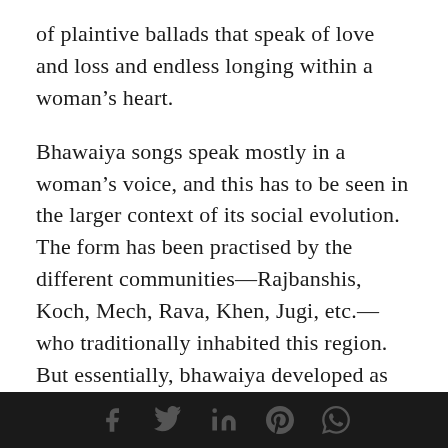of plaintive ballads that speak of love and loss and endless longing within a woman's heart.
Bhawaiya songs speak mostly in a woman's voice, and this has to be seen in the larger context of its social evolution. The form has been practised by the different communities—Rajbanshis, Koch, Mech, Rava, Khen, Jugi, etc.—who traditionally inhabited this region. But essentially, bhawaiya developed as an integral cultural expression of the Rajbanshis, and these songs are composed in Rajbanshi (or Kamrupi or Kamtapuri), the most widely spoken Bengali dialect across this belt. Despite the influence of Brahminical Hinduism, Islam and Vaishnavism
[social media icons: Facebook, Twitter, LinkedIn, Pinterest, WhatsApp]